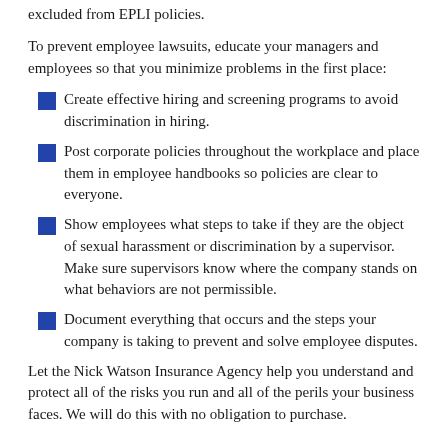excluded from EPLI policies.
To prevent employee lawsuits, educate your managers and employees so that you minimize problems in the first place:
Create effective hiring and screening programs to avoid discrimination in hiring.
Post corporate policies throughout the workplace and place them in employee handbooks so policies are clear to everyone.
Show employees what steps to take if they are the object of sexual harassment or discrimination by a supervisor. Make sure supervisors know where the company stands on what behaviors are not permissible.
Document everything that occurs and the steps your company is taking to prevent and solve employee disputes.
Let the Nick Watson Insurance Agency help you understand and protect all of the risks you run and all of the perils your business faces. We will do this with no obligation to purchase.